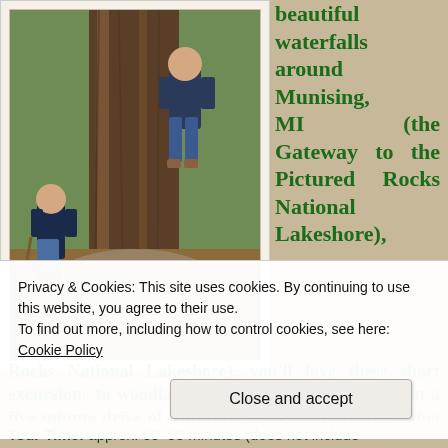[Figure (photo): Two children standing in front of a large tree trunk in a woodland setting with fallen leaves on the ground]
beautiful waterfalls around Munising, MI (the Gateway to the Pictured Rocks National Lakeshore), you'll love these short excursions to woodland waterfalls that are all within a five minute drive of Munising. Full descriptions coming soon!
Privacy & Cookies: This site uses cookies. By continuing to use this website, you agree to their use.
To find out more, including how to control cookies, see here: Cookie Policy
Close and accept
Tour Time: approx. 60–90 minutes (does not include